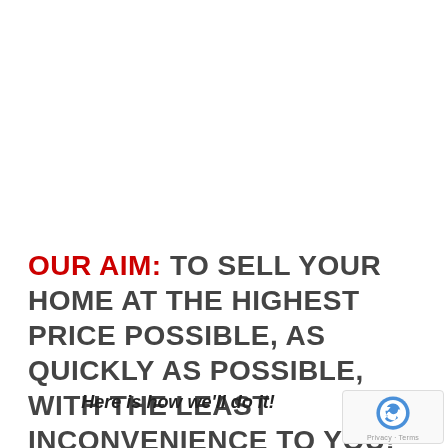OUR AIM: TO SELL YOUR HOME AT THE HIGHEST PRICE POSSIBLE, AS QUICKLY AS POSSIBLE, WITH THE LEAST INCONVENIENCE TO YOU!
Here is how we'll do it!